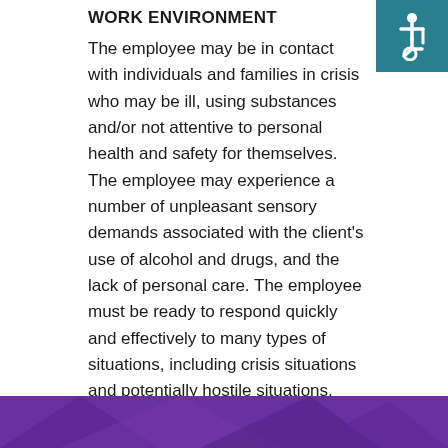[Figure (illustration): Accessibility wheelchair symbol icon on teal/dark cyan background in top-right corner]
WORK ENVIRONMENT
The employee may be in contact with individuals and families in crisis who may be ill, using substances and/or not attentive to personal health and safety for themselves. The employee may experience a number of unpleasant sensory demands associated with the client's use of alcohol and drugs, and the lack of personal care. The employee must be ready to respond quickly and effectively to many types of situations, including crisis situations and potentially hostile situations.
[Figure (illustration): Purple decorative banner footer with diagonal geometric shapes]